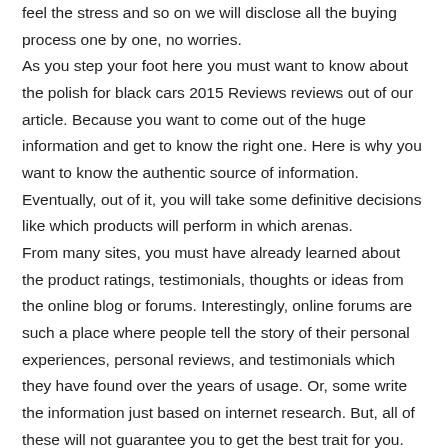feel the stress and so on we will disclose all the buying process one by one, no worries.
As you step your foot here you must want to know about the polish for black cars 2015 Reviews reviews out of our article. Because you want to come out of the huge information and get to know the right one. Here is why you want to know the authentic source of information. Eventually, out of it, you will take some definitive decisions like which products will perform in which arenas.
From many sites, you must have already learned about the product ratings, testimonials, thoughts or ideas from the online blog or forums. Interestingly, online forums are such a place where people tell the story of their personal experiences, personal reviews, and testimonials which they have found over the years of usage. Or, some write the information just based on internet research. But, all of these will not guarantee you to get the best trait for you. Only the in-depth research will help you to get the right polish for black cars 2015 Reviews.
Fortunately, we take the responsibility on our shoulders to help you